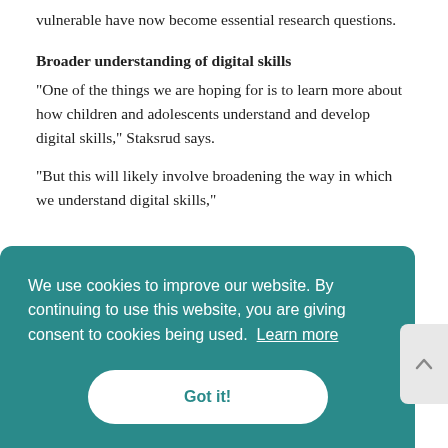vulnerable have now become essential research questions.
Broader understanding of digital skills
"One of the things we are hoping for is to learn more about how children and adolescents understand and develop digital skills," Staksrud says.
"But this will likely involve broadening the way in which we understand digital skills,"
We use cookies to improve our website. By continuing to use this website, you are giving consent to cookies being used. Learn more
Got it!
broad sense, and perhaps we will find that it